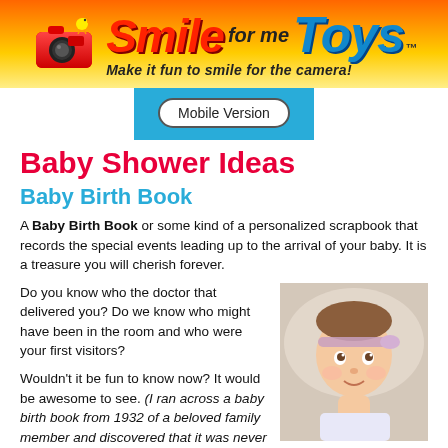[Figure (logo): Smile for me Toys banner logo with camera icon, colorful text reading 'Smile for me Toys' and tagline 'Make it fun to smile for the camera!']
Mobile Version
Baby Shower Ideas
Baby Birth Book
A Baby Birth Book or some kind of a personalized scrapbook that records the special events leading up to the arrival of your baby. It is a treasure you will cherish forever.
Do you know who the doctor that delivered you? Do we know who might have been in the room and who were your first visitors?
Wouldn't it be fun to know now? It would be awesome to see. (I ran across a baby birth book from 1932 of a beloved family member and discovered that it was never
[Figure (photo): A baby/toddler girl with a light purple headband looking upward, photographed indoors]